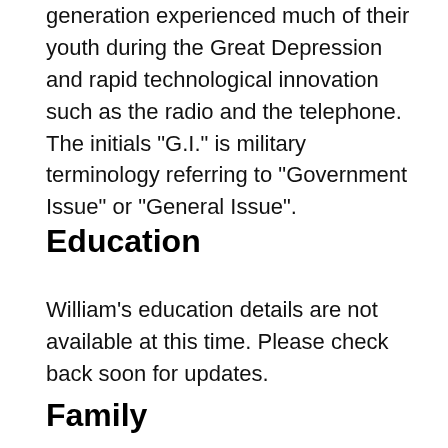generation experienced much of their youth during the Great Depression and rapid technological innovation such as the radio and the telephone. The initials "G.I." is military terminology referring to "Government Issue" or "General Issue".
Education
William's education details are not available at this time. Please check back soon for updates.
Family